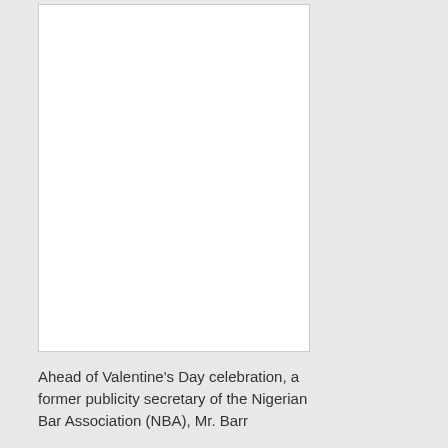[Figure (photo): A blank/white image placeholder box]
Ahead of Valentine's Day celebration, a former publicity secretary of the Nigerian Bar Association (NBA), Mr. Barr...